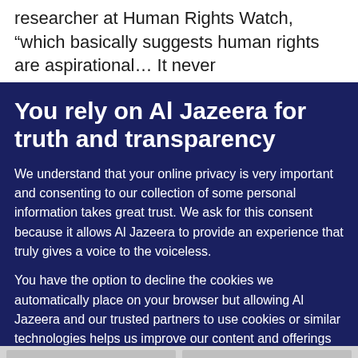researcher at Human Rights Watch, “which basically suggests human rights are aspirational… It never
You rely on Al Jazeera for truth and transparency
We understand that your online privacy is very important and consenting to our collection of some personal information takes great trust. We ask for this consent because it allows Al Jazeera to provide an experience that truly gives a voice to the voiceless.
You have the option to decline the cookies we automatically place on your browser but allowing Al Jazeera and our trusted partners to use cookies or similar technologies helps us improve our content and offerings to you. You can change your privacy preferences at any time by selecting ‘Cookie preferences’ at the bottom of your screen. To learn more, please view our Cookie Policy.